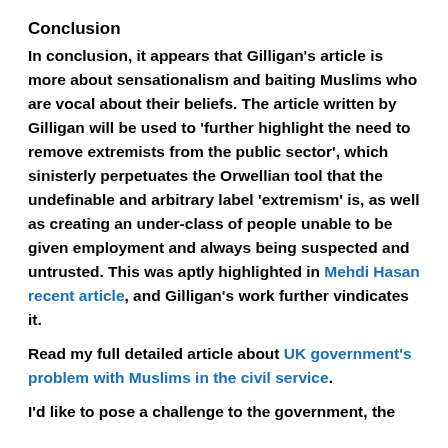Conclusion
In conclusion, it appears that Gilligan’s article is more about sensationalism and baiting Muslims who are vocal about their beliefs. The article written by Gilligan will be used to ‘further highlight the need to remove extremists from the public sector’, which sinisterly perpetuates the Orwellian tool that the undefinable and arbitrary label ‘extremism’ is, as well as creating an under-class of people unable to be given employment and always being suspected and untrusted. This was aptly highlighted in Mehdi Hasan recent article, and Gilligan’s work further vindicates it.
Read my full detailed article about UK government’s problem with Muslims in the civil service.
I’d like to pose a challenge to the government, the